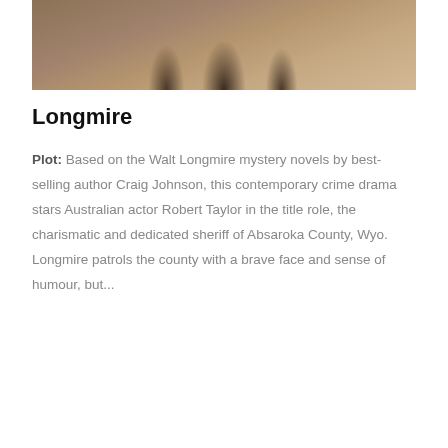[Figure (photo): A darkened promotional photo showing several people (actors) standing together, in a Western-style setting with warm brown tones.]
Longmire
Plot: Based on the Walt Longmire mystery novels by best-selling author Craig Johnson, this contemporary crime drama stars Australian actor Robert Taylor in the title role, the charismatic and dedicated sheriff of Absaroka County, Wyo. Longmire patrols the county with a brave face and sense of humour, but...
5